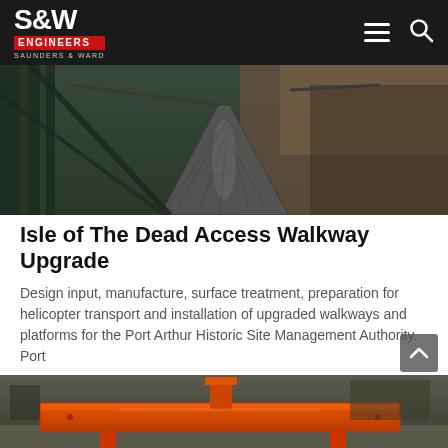S&W ENGINEERS — SAUNDERS & WARD
[Figure (photo): Elevated metal walkway with steel mesh grating and handrails, photographed from one end looking down the walkway through bushland. Metal framework visible on sides with dappled sunlight.]
Isle of The Dead Access Walkway Upgrade
Design input, manufacture, surface treatment, preparation for helicopter transport and installation of upgraded walkways and platforms for the Port Arthur Historic Site Management Authority. Port
Read More »
[Figure (photo): Industrial workshop interior showing a large orange-painted steel platform or walkway structure on supports, photographed from a low angle. Workshop tools and equipment visible in background.]